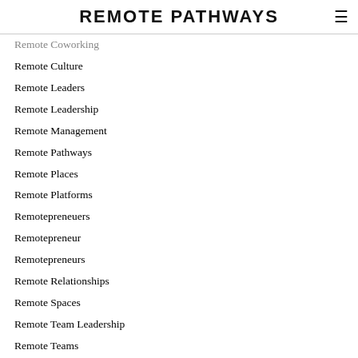REMOTE PATHWAYS
Remote Coworking
Remote Culture
Remote Leaders
Remote Leadership
Remote Management
Remote Pathways
Remote Places
Remote Platforms
Remotepreneuers
Remotepreneur
Remotepreneurs
Remote Relationships
Remote Spaces
Remote Team Leadership
Remote Teams
Remote Tips
Remote Work